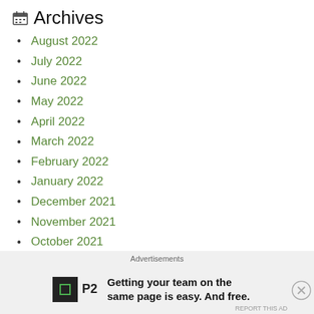Archives
August 2022
July 2022
June 2022
May 2022
April 2022
March 2022
February 2022
January 2022
December 2021
November 2021
October 2021
September 2021
Advertisements
Getting your team on the same page is easy. And free.